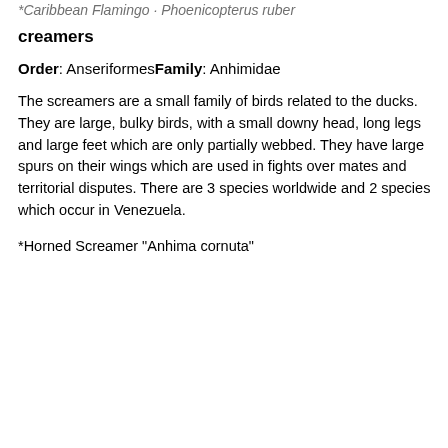*Caribbean Flamingo · Phoenicopterus ruber
creamers
Order: AnseriformesFamily: Anhimidae
The screamers are a small family of birds related to the ducks. They are large, bulky birds, with a small downy head, long legs and large feet which are only partially webbed. They have large spurs on their wings which are used in fights over mates and territorial disputes. There are 3 species worldwide and 2 species which occur in Venezuela.
*Horned Screamer "Anhima cornuta"